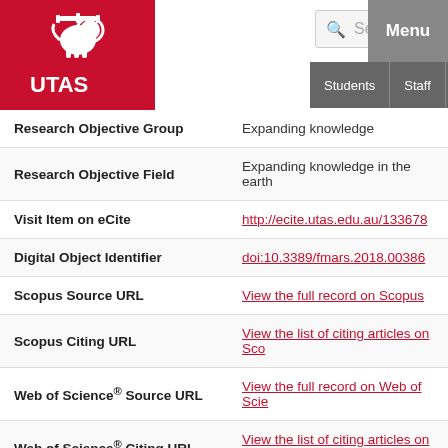[Figure (logo): University of Tasmania (UTAS) logo — red background with lion crest and UTAS text in white]
Search | Menu | Students | Staff | MyLO | Contacts
| Field | Value |
| --- | --- |
| Research Objective Group | Expanding knowledge |
| Research Objective Field | Expanding knowledge in the earth |
| Visit Item on eCite | http://ecite.utas.edu.au/133678 |
| Digital Object Identifier | doi:10.3389/fmars.2018.00386 |
| Scopus Source URL | View the full record on Scopus |
| Scopus Citing URL | View the list of citing articles on Sco |
| Web of Science® Source URL | View the full record on Web of Scie |
| Web of Science® Citing URL | View the list of citing articles on We |
| Web of Science® Related URL | View the list of related articles on W |